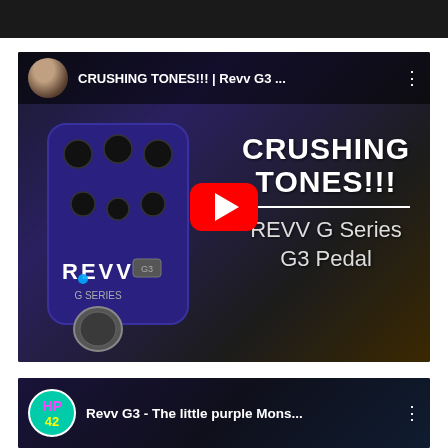[Figure (screenshot): YouTube video thumbnail for 'CRUSHING TONES!!! | Revv G3 ...' showing a blue REVV G Series G3 guitar pedal with a red YouTube play button overlay and text 'CRUSHING TONES!!! REVV G Series G3 Pedal']
[Figure (screenshot): YouTube video thumbnail for 'Revv G3 - The little purple Mons...' with HP 42 channel avatar]